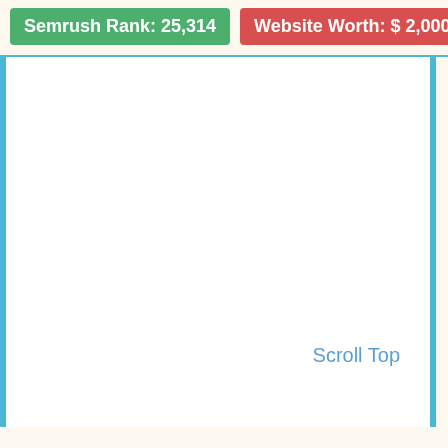Semrush Rank: 25,314
Website Worth: $ 2,000
Scroll Top